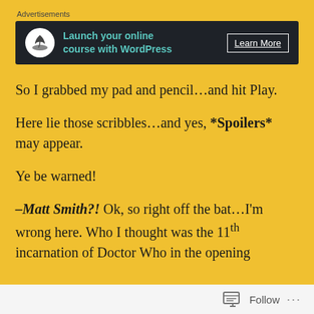[Figure (screenshot): Advertisement banner: dark background with bonsai tree icon, teal text 'Launch your online course with WordPress', and white 'Learn More' button]
So I grabbed my pad and pencil…and hit Play.
Here lie those scribbles…and yes, *Spoilers* may appear.
Ye be warned!
-Matt Smith?! Ok, so right off the bat…I'm wrong here. Who I thought was the 11th incarnation of Doctor Who in the opening
Follow ...